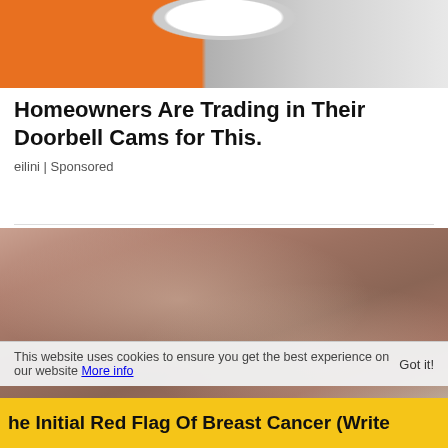[Figure (photo): Close-up photo of hands holding a tape measure and electrical components, with orange safety equipment visible]
Homeowners Are Trading in Their Doorbell Cams for This.
eilini | Sponsored
[Figure (photo): Close-up photo of a person's hands with light pink manicured nails touching a ribbed fabric garment (mauve/dusty rose color)]
This website uses cookies to ensure you get the best experience on our website More info
Got it!
he Initial Red Flag Of Breast Cancer (Write